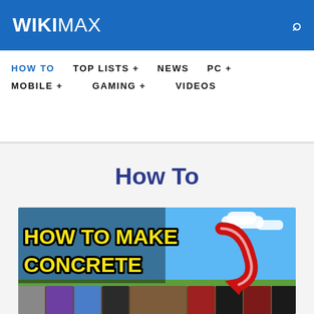WIKIMWAX
HOW TO  TOP LISTS +  NEWS  PC +  MOBILE +  GAMING +  VIDEOS
How To
[Figure (screenshot): Minecraft thumbnail showing 'HOW TO MAKE CONCRETE' text in yellow with black outline on a blue sky background, with a red arrow pointing right, and colored concrete blocks at the bottom]